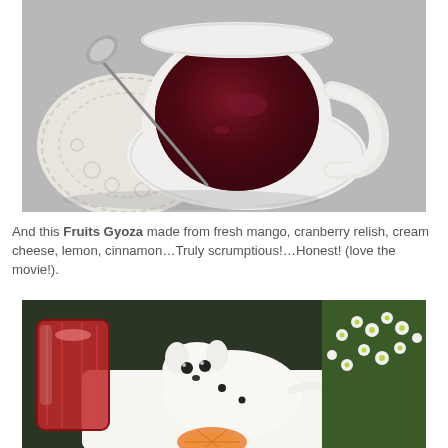[Figure (photo): Overhead view of a white teacup and saucer with deep red/dark cranberry colored tea, a silver spoon resting on a white lace doily, on a grey surface.]
And this Fruits Gyoza made from fresh mango, cranberry relish, cream cheese, lemon, cinnamon…Truly scrumptious!…Honest! (love the movie!).
[Figure (photo): A table setting with a red cranberry drink in a decorative glass on the left, a white ceramic animal-shaped sauce boat or dish in the center, and white small flowers with green leaves in the background.]